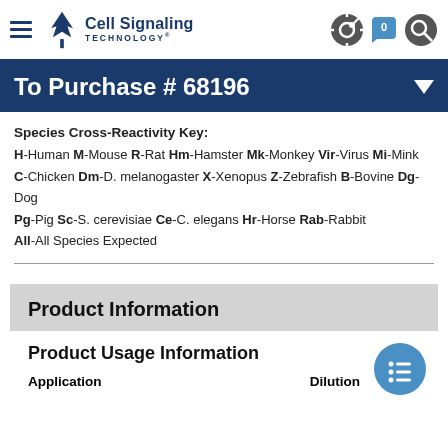Cell Signaling Technology
To Purchase # 68196
Species Cross-Reactivity Key: H-Human M-Mouse R-Rat Hm-Hamster Mk-Monkey Vir-Virus Mi-Mink C-Chicken Dm-D. melanogaster X-Xenopus Z-Zebrafish B-Bovine Dg-Dog Pg-Pig Sc-S. cerevisiae Ce-C. elegans Hr-Horse Rab-Rabbit All-All Species Expected
Product Information
Product Usage Information
Application    Dilution